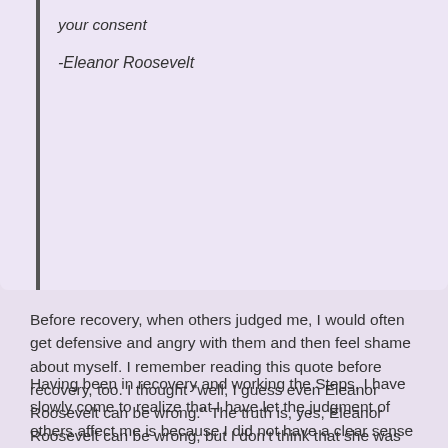your consent
-Eleanor Roosevelt
Before recovery, when others judged me, I would often get defensive and angry with them and then feel shame about myself. I remember reading this quote before recovery, too. I thought “well, I guess even Eleanor Roosevelt can be wrong.” The truth is, yes, Eleanor Roosevelt can be wrong, but I don’t think that she was wrong in this case.
Having been in recovery and working the Steps, I have slowly come to realize that I have let the judgment of others affect me is because I did not have a clear sense of self. I had very low self-esteem and constant fear that the reality others saw was something that I valued with